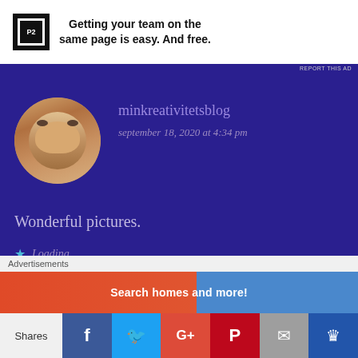[Figure (other): Advertisement banner: P2 logo with text 'Getting your team on the same page is easy. And free.']
REPORT THIS AD
[Figure (photo): Avatar photo of commenter minkreativitetsblog - woman with glasses, smiling, blonde hair]
minkreativitetsblog
september 18, 2020 at 4:34 pm
Wonderful pictures.
Loading...
Reply
[Figure (photo): Avatar/thumbnail photo of commenter drjurisharma - outdoor scene]
drjurisharma
Advertisements
Shares
f
t
G+
P
✉
♛